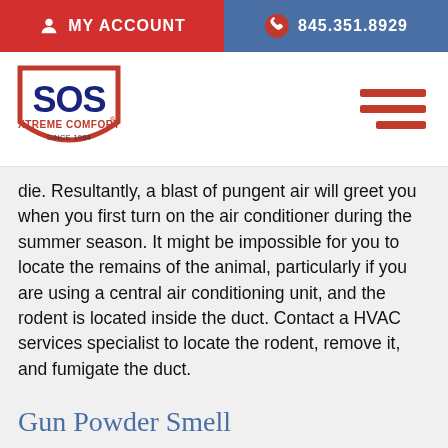MY ACCOUNT   845.351.8929
[Figure (logo): SOS Xtreme Comfort logo - shield shape with red outline, blue SOS text, red Xtreme Comfort text, Since 1994]
die. Resultantly, a blast of pungent air will greet you when you first turn on the air conditioner during the summer season. It might be impossible for you to locate the remains of the animal, particularly if you are using a central air conditioning unit, and the rodent is located inside the duct. Contact a HVAC services specialist to locate the rodent, remove it, and fumigate the duct.
Gun Powder Smell